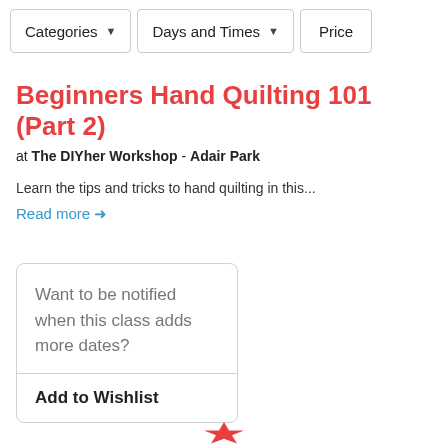Categories   Days and Times   Price
Beginners Hand Quilting 101 (Part 2)
at The DIYher Workshop - Adair Park
Learn the tips and tricks to hand quilting in this...
Read more →
Want to be notified when this class adds more dates?
Add to Wishlist